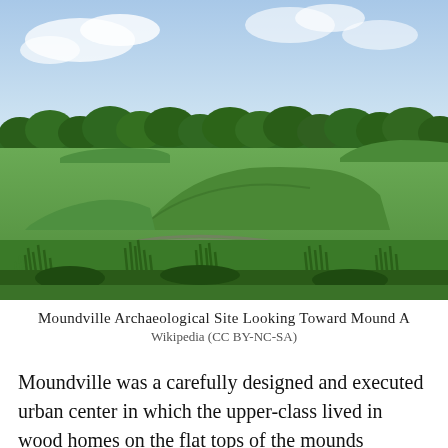[Figure (photo): Aerial landscape view of Moundville Archaeological Site showing large earthen mounds rising above a wide green field, with dense tree line in the background and blue sky with clouds above. A path curves through the foreground with tall grasses and vegetation.]
Moundville Archaeological Site Looking Toward Mound A
Wikipedia (CC BY-NC-SA)
Moundville was a carefully designed and executed urban center in which the upper-class lived in wood homes on the flat tops of the mounds